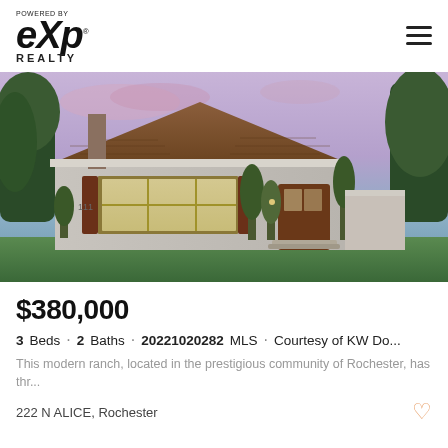POWERED BY eXp REALTY
[Figure (photo): Exterior photo of a modern ranch-style brick home at dusk with cedar shake gable, dark wood shutters, large front window, wood front door, decorative trees, and lush green landscaping against a purple-pink evening sky.]
$380,000
3 Beds · 2 Baths · 20221020282 MLS · Courtesy of KW Do...
This modern ranch, located in the prestigious community of Rochester, has thr...
222 N ALICE, Rochester